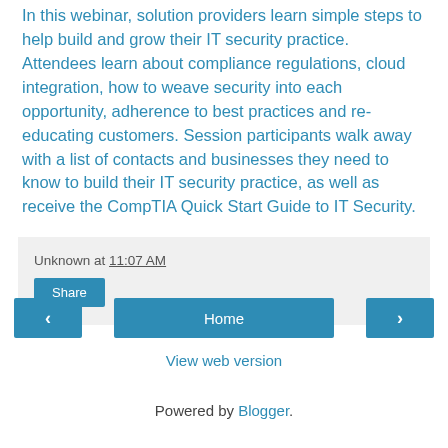In this webinar, solution providers learn simple steps to help build and grow their IT security practice. Attendees learn about compliance regulations, cloud integration, how to weave security into each opportunity, adherence to best practices and re-educating customers. Session participants walk away with a list of contacts and businesses they need to know to build their IT security practice, as well as receive the CompTIA Quick Start Guide to IT Security.
Unknown at 11:07 AM
Share
‹
Home
›
View web version
Powered by Blogger.